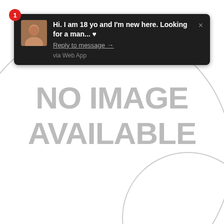[Figure (screenshot): A browser or app notification popup on a white background with two partially visible circles. The notification has a dark background with a small avatar image, a red badge showing '1', message text 'Hi. I am 18 yo and I'm new here. Looking for a man... ♥', a 'Reply to message →' link, and 'via Web App' footer. Behind the notification is a 'NO IMAGE AVAILABLE' placeholder with large grey circles.]